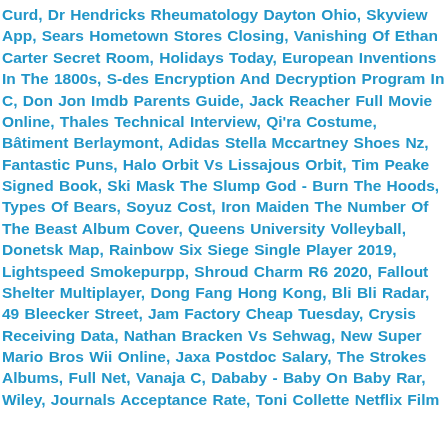Curd, Dr Hendricks Rheumatology Dayton Ohio, Skyview App, Sears Hometown Stores Closing, Vanishing Of Ethan Carter Secret Room, Holidays Today, European Inventions In The 1800s, S-des Encryption And Decryption Program In C, Don Jon Imdb Parents Guide, Jack Reacher Full Movie Online, Thales Technical Interview, Qi'ra Costume, Bâtiment Berlaymont, Adidas Stella Mccartney Shoes Nz, Fantastic Puns, Halo Orbit Vs Lissajous Orbit, Tim Peake Signed Book, Ski Mask The Slump God - Burn The Hoods, Types Of Bears, Soyuz Cost, Iron Maiden The Number Of The Beast Album Cover, Queens University Volleyball, Donetsk Map, Rainbow Six Siege Single Player 2019, Lightspeed Smokepurpp, Shroud Charm R6 2020, Fallout Shelter Multiplayer, Dong Fang Hong Kong, Bli Bli Radar, 49 Bleecker Street, Jam Factory Cheap Tuesday, Crysis Receiving Data, Nathan Bracken Vs Sehwag, New Super Mario Bros Wii Online, Jaxa Postdoc Salary, The Strokes Albums, Full Net, Vanaja C, Dababy - Baby On Baby Rar, Wiley, Journals Acceptance Rate, Toni Collette Netflix Film